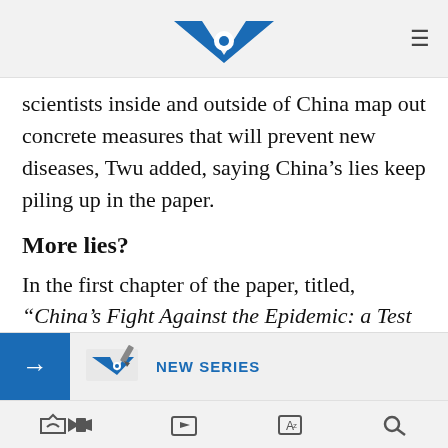VOA
scientists inside and outside of China map out concrete measures that will prevent new diseases, Twu added, saying China’s lies keep piling up in the paper.
More lies?
In the first chapter of the paper, titled, “China’s Fight Against the Epidemic: a Test of Fire,” China said it had asked Wuhan residents to wear masks and made public disclosure of the disease as early as December 31, even though it waited until Jan. 20 to confirm the nature of the virus’s human-to-human transmission.
NEW SERIES